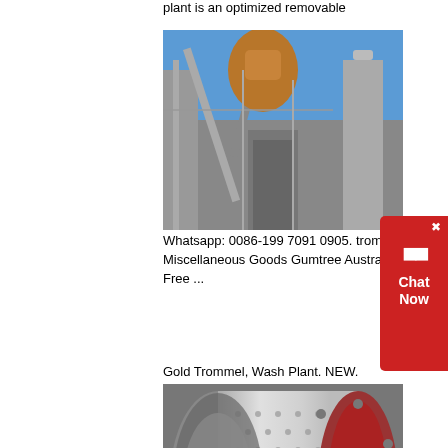plant is an optimized removable
[Figure (photo): Industrial mining plant with crane arm, conveyor structures, and heavy equipment against blue sky]
Whatsapp: 0086-199 7091 0905. trommel Miscellaneous Goods Gumtree Australia Free ...
Gold Trommel, Wash Plant. NEW.
[Figure (photo): Large cylindrical trommel drum with perforated surface, green and red coloring, industrial mining equipment]
x
trommel products for sale eBay
BUILD YOUR OWN DRYWASHER GOLD MINING
[Figure (photo): Outdoor mining or construction scene with machinery and landscape]
[Figure (other): Chat Now widget - red button with chat bubbles icon on right side of page]